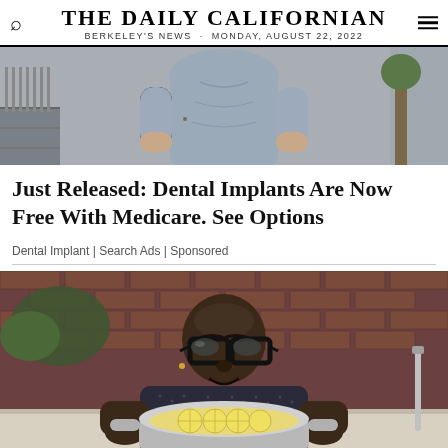THE DAILY CALIFORNIAN
BERKELEY'S NEWS · MONDAY, AUGUST 22, 2022
[Figure (photo): Partial torso photo of a person wearing a blue/grey t-shirt, standing on a sidewalk]
Just Released: Dental Implants Are Now Free With Medicare. See Options
Dental Implant | Search Ads | Sponsored
[Figure (photo): A man with glasses holding a pot containing lemon slices, sitting in front of a brick wall background]